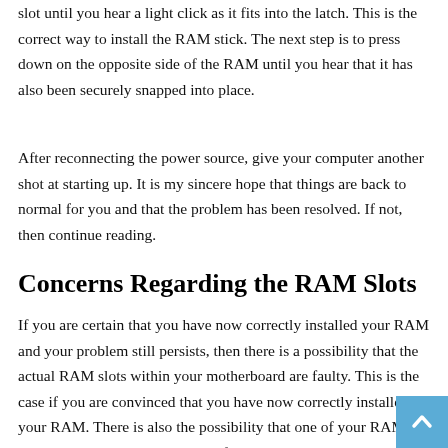slot until you hear a light click as it fits into the latch. This is the correct way to install the RAM stick. The next step is to press down on the opposite side of the RAM until you hear that it has also been securely snapped into place.
After reconnecting the power source, give your computer another shot at starting up. It is my sincere hope that things are back to normal for you and that the problem has been resolved. If not, then continue reading.
Concerns Regarding the RAM Slots
If you are certain that you have now correctly installed your RAM and your problem still persists, then there is a possibility that the actual RAM slots within your motherboard are faulty. This is the case if you are convinced that you have now correctly installed your RAM. There is also the possibility that one of your RAM sticks is broken or otherwise malfunctioning.